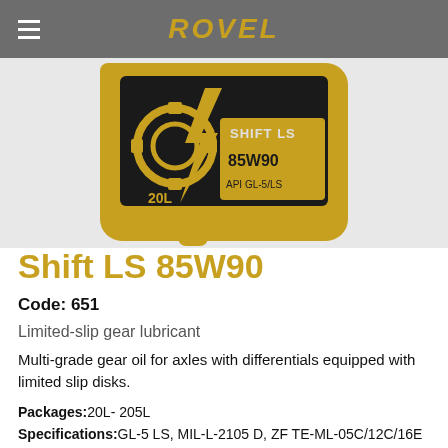ROVEL
[Figure (photo): Gold-colored 20L container of Rovel Shift LS 85W90 gear oil with black gear/lightning bolt graphic and label reading SHIFT LS, 85W90, API GL-5/LS, 20L]
Shift LS 85W90
Code: 651
Limited-slip gear lubricant
Multi-grade gear oil for axles with differentials equipped with limited slip disks.
Packages: 20L- 205L
Specifications: GL-5 LS, MIL-L-2105 D, ZF TE-ML-05C/12C/16E